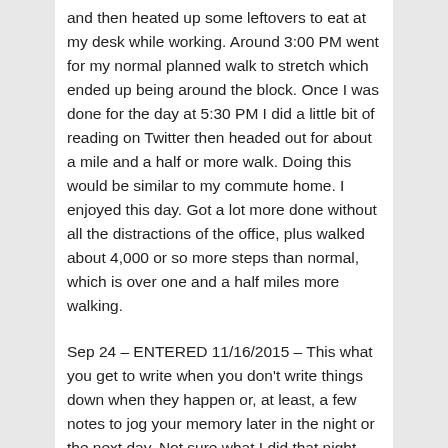and then heated up some leftovers to eat at my desk while working. Around 3:00 PM went for my normal planned walk to stretch which ended up being around the block. Once I was done for the day at 5:30 PM I did a little bit of reading on Twitter then headed out for about a mile and a half or more walk. Doing this would be similar to my commute home. I enjoyed this day. Got a lot more done without all the distractions of the office, plus walked about 4,000 or so more steps than normal, which is over one and a half miles more walking.
Sep 24 – ENTERED 11/16/2015 – This what you get to write when you don't write things down when they happen or, at least, a few notes to jog your memory later in the night or the next day. Not sure what I did that night, but most likely it was watching TV or reading, but I will never know because I didn't write it done.
Sep 25 – Walking over to Prequal at 818 F St. for the after party of TEDxMidAtlantic. Great day for inspiration along with some time to realizing that you need to do more with